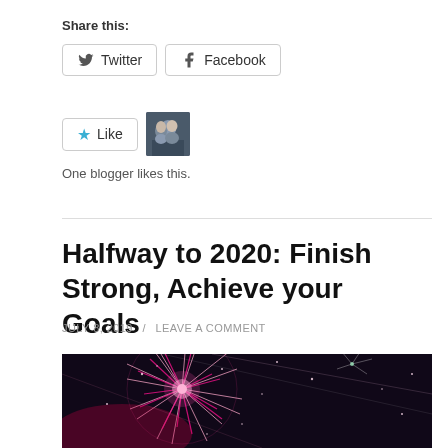Share this:
Twitter  Facebook
Like
[Figure (photo): Avatar photo of a blogger couple]
One blogger likes this.
Halfway to 2020: Finish Strong, Achieve your Goals
JULY 8, 2019 / LEAVE A COMMENT
[Figure (photo): Fireworks display with pink and white sparks against a dark sky]